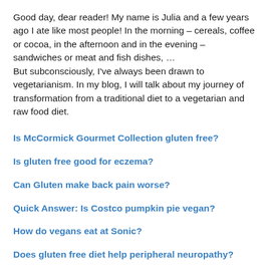Good day, dear reader! My name is Julia and a few years ago I ate like most people! In the morning – cereals, coffee or cocoa, in the afternoon and in the evening – sandwiches or meat and fish dishes, …
But subconsciously, I've always been drawn to vegetarianism. In my blog, I will talk about my journey of transformation from a traditional diet to a vegetarian and raw food diet.
Is McCormick Gourmet Collection gluten free?
Is gluten free good for eczema?
Can Gluten make back pain worse?
Quick Answer: Is Costco pumpkin pie vegan?
How do vegans eat at Sonic?
Does gluten free diet help peripheral neuropathy?